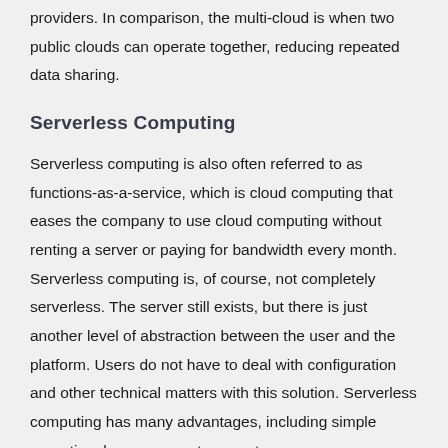providers. In comparison, the multi-cloud is when two public clouds can operate together, reducing repeated data sharing.
Serverless Computing
Serverless computing is also often referred to as functions-as-a-service, which is cloud computing that eases the company to use cloud computing without renting a server or paying for bandwidth every month. Serverless computing is, of course, not completely serverless. The server still exists, but there is just another level of abstraction between the user and the platform. Users do not have to deal with configuration and other technical matters with this solution. Serverless computing has many advantages, including simple operational management, no system